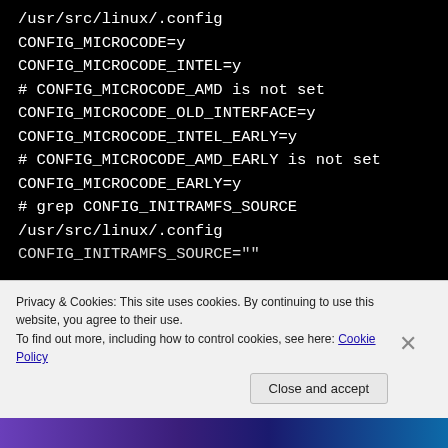/usr/src/linux/.config
CONFIG_MICROCODE=y
CONFIG_MICROCODE_INTEL=y
# CONFIG_MICROCODE_AMD is not set
CONFIG_MICROCODE_OLD_INTERFACE=y
CONFIG_MICROCODE_INTEL_EARLY=y
# CONFIG_MICROCODE_AMD_EARLY is not set
CONFIG_MICROCODE_EARLY=y
# grep CONFIG_INITRAMFS_SOURCE
/usr/src/linux/.config
CONFIG_INITRAMFS_SOURCE=""
Privacy & Cookies: This site uses cookies. By continuing to use this website, you agree to their use.
To find out more, including how to control cookies, see here: Cookie Policy